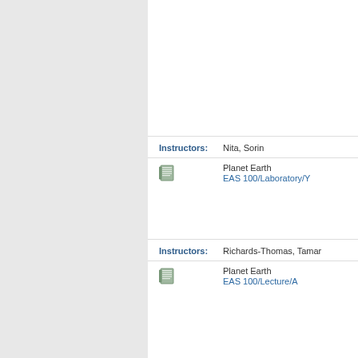Instructors: Nita, Sorin
Planet Earth EAS 100/Laboratory/Y
Instructors: Richards-Thomas, Tamar
Planet Earth EAS 100/Lecture/A